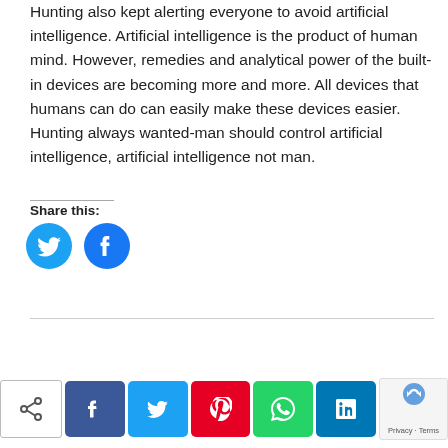Hunting also kept alerting everyone to avoid artificial intelligence. Artificial intelligence is the product of human mind. However, remedies and analytical power of the built-in devices are becoming more and more. All devices that humans can do can easily make these devices easier. Hunting always wanted-man should control artificial intelligence, artificial intelligence not man.
Share this:
[Figure (illustration): Two circular social share buttons: Twitter (blue bird icon) and Facebook (blue f icon)]
[Figure (illustration): Bottom social sharing bar with share icon (white outline), Facebook (dark blue f), Twitter (light blue bird), Pinterest (red P), WhatsApp (green phone), LinkedIn (dark blue in), and a privacy/reCAPTCHA widget with scroll-to-top button]